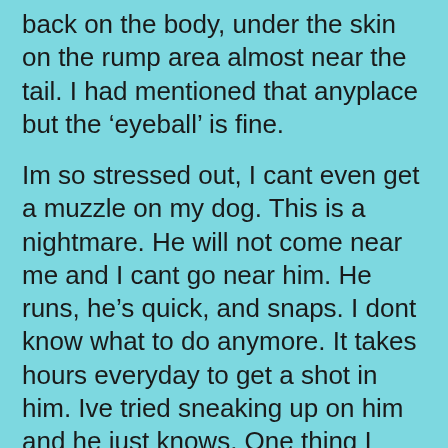back on the body, under the skin on the rump area almost near the tail. I had mentioned that anyplace but the ‘eyeball’ is fine.
Im so stressed out, I cant even get a muzzle on my dog. This is a nightmare. He will not come near me and I cant go near him. He runs, he’s quick, and snaps. I dont know what to do anymore. It takes hours everyday to get a shot in him. Ive tried sneaking up on him and he just knows. One thing I didnt know, that you could give it in the butt. That might be easier. Thanks for the suggestions. Good video. ?
We put a larger than she would normally have cone / trumpet ... and make sure she is standing up to have a go whilst we sit...